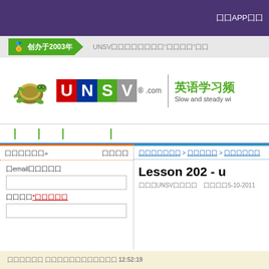下载APP版
🏅 创办于2003年   UNSV囗囗囗囗囗囗囗囗"囗囗囗"囗囗
[Figure (logo): UNSV.com turtle logo with colored letter blocks U N S V, tagline: 英语学习频 / Slow and steady wi...]
| | | |
囗囗囗囗囗囗» 囗囗囗囗
囗email囗囗囗囗囗
囗囗囗囗*囗囗囗囗囗
囗囗囗囗囗囗囗 > 囗囗囗囗囗 > 囗囗囗囗囗囗
Lesson 202 - u
囗囗囗UNSV囗囗囗囗   囗囗囗囗5-10-2011
囗囗囗囗囗囗 囗囗囗囗囗囗囗囗囗囗囗囗 12:52:19